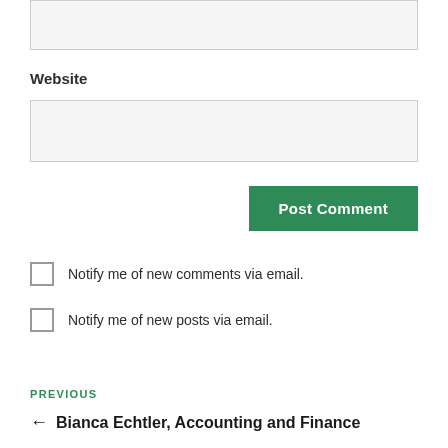[Figure (screenshot): Empty text input field with light gray background and border]
Website
[Figure (screenshot): Empty website input field with light gray background and border]
Post Comment
Notify me of new comments via email.
Notify me of new posts via email.
PREVIOUS
← Bianca Echtler, Accounting and Finance